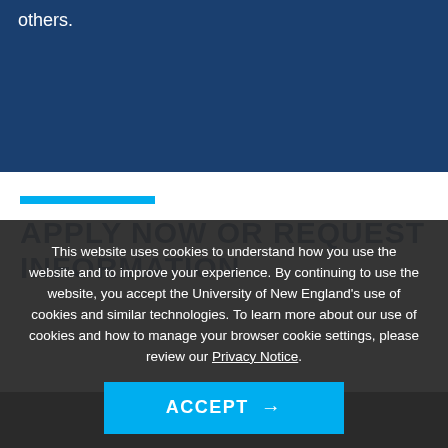others.
APPLY NOW OR REQUEST INFORMATION
This website uses cookies to understand how you use the website and to improve your experience. By continuing to use the website, you accept the University of New England's use of cookies and similar technologies. To learn more about our use of cookies and how to manage your browser cookie settings, please review our Privacy Notice.
ACCEPT →